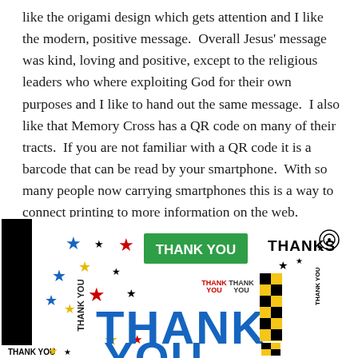like the origami design which gets attention and I like the modern, positive message.  Overall Jesus' message was kind, loving and positive, except to the religious leaders who where exploiting God for their own purposes and I like to hand out the same message.  I also like that Memory Cross has a QR code on many of their tracts.  If you are not familiar with a QR code it is a barcode that can be read by your smartphone.  With so many people now carrying smartphones this is a way to connect printing to more information on the web.
[Figure (illustration): A colorful collage of 'Thank You' text in various languages, fonts, colors and styles including large blue block letters spelling THANK YOU, green rectangle with white THANK YOU text, black vertical THANKS text, yellow and black checkered exclamation mark, GRAZIE text on right, and various stars in blue, red, yellow and black scattered throughout.]